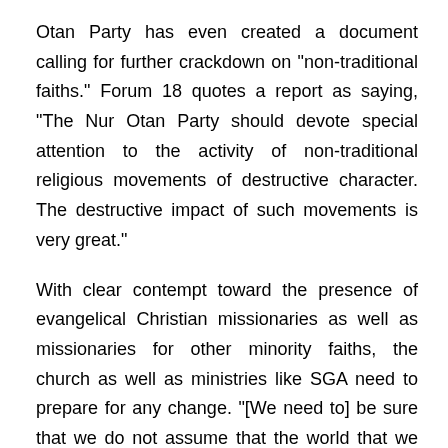Otan Party has even created a document calling for further crackdown on "non-traditional faiths." Forum 18 quotes a report as saying, "The Nur Otan Party should devote special attention to the activity of non-traditional religious movements of destructive character. The destructive impact of such movements is very great."
With clear contempt toward the presence of evangelical Christian missionaries as well as missionaries for other minority faiths, the church as well as ministries like SGA need to prepare for any change. "[We need to] be sure that we do not assume that the world that we minister in today is the same that we minister in tomorrow," says Mock.
Whether or not missionary presence is increasingly restricted does not directly affect SGA, since their ministry